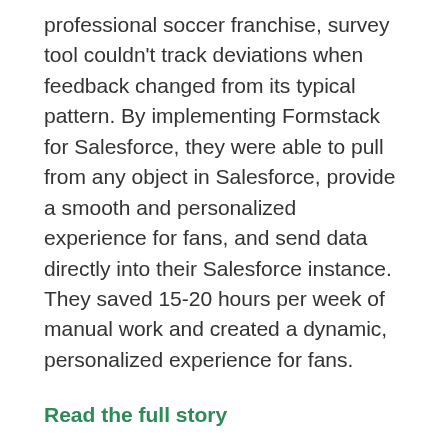professional soccer franchise, survey tool couldn't track deviations when feedback changed from its typical pattern. By implementing Formstack for Salesforce, they were able to pull from any object in Salesforce, provide a smooth and personalized experience for fans, and send data directly into their Salesforce instance. They saved 15-20 hours per week of manual work and created a dynamic, personalized experience for fans.
Read the full story
Storing Event Ticket Data in Salesforce
The NBA team the Pacers needed a way to seamlessly transfer ticket data into Salesforce